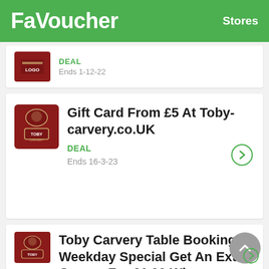FaVoucher  Stores
DEAL
Ends 1-12-22
Gift Card From £5 At Toby-carvery.co.UK
DEAL
Ends 16-3-23
Toby Carvery Table Booking - Weekday Special Get An Extra Course For £1.99 When